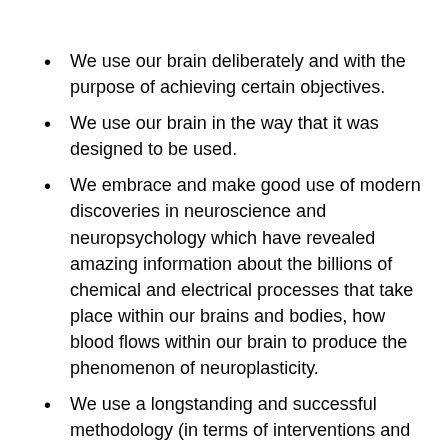We use our brain deliberately and with the purpose of achieving certain objectives.
We use our brain in the way that it was designed to be used.
We embrace and make good use of modern discoveries in neuroscience and neuropsychology which have revealed amazing information about the billions of chemical and electrical processes that take place within our brains and bodies, how blood flows within our brain to produce the phenomenon of neuroplasticity.
We use a longstanding and successful methodology (in terms of interventions and